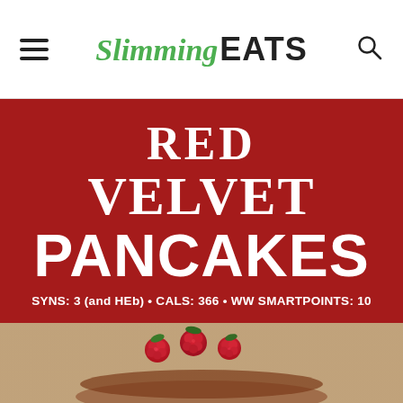Slimming EATS
RED VELVET PANCAKES
SYNS: 3 (and HEb) • CALS: 366 • WW SMARTPOINTS: 10
[Figure (photo): Close-up photo of red velvet pancakes topped with fresh raspberries on a wooden surface]